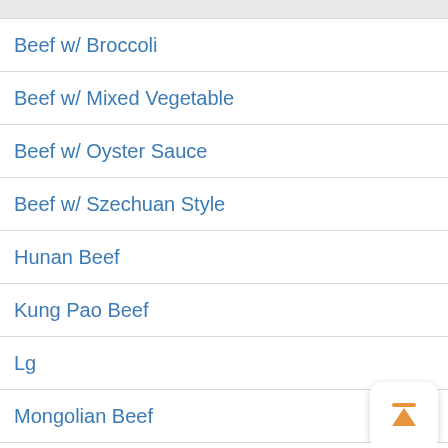Beef w/ Broccoli
Beef w/ Mixed Vegetable
Beef w/ Oyster Sauce
Beef w/ Szechuan Style
Hunan Beef
Kung Pao Beef
Lg
Mongolian Beef
Moo Shu Beef (4 Pancakes)
Pepper Steak w/ Onion
Shredded Beef w/ Hot Spicy Sauce